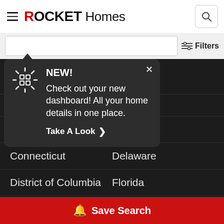ROCKET Homes
[Figure (screenshot): Rocket Homes website screenshot showing a notification popup overlay on a dark-themed state listing page. The popup has a dark background with an icon, 'NEW!' heading, description text 'Check out your new dashboard! All your home details in one place.' and a 'Take A Look >' link. Behind the popup is a list of US states: Alabama, Alaska, Arizona, Arkansas, California, Colorado, Connecticut, Delaware, District of Columbia, Florida. A red 'Save Search' button bar is at the bottom.]